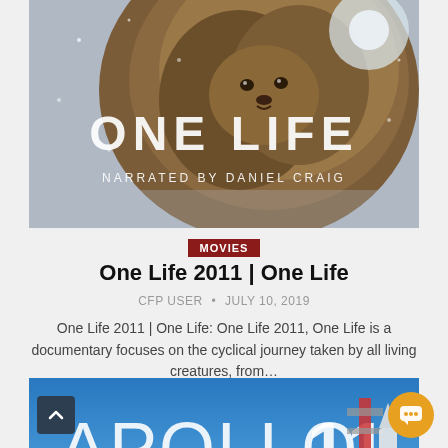[Figure (photo): Movie poster for 'One Life 2011' showing a furry animal with text 'ONE LIFE' and 'NARRATED BY DANIEL CRAIG' overlaid on a wintry background]
MOVIES
One Life 2011 | One Life
CFP USER · JULY 10, 2019
One Life 2011 | One Life: One Life 2011, One Life is a documentary focuses on the cyclical journey taken by all living creatures, from…
[Figure (photo): Movie poster for 'Apollo 11' showing the title text in large letters on a blue background with a rocket launch tower on the right and a CFP logo in the center]